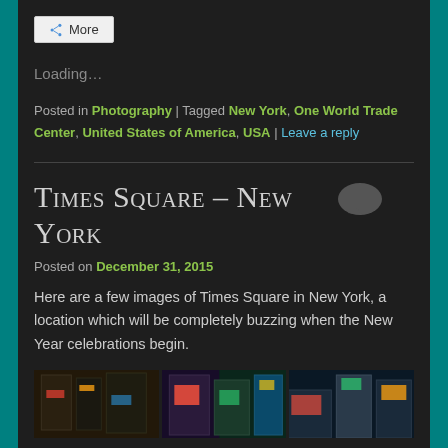More
Loading…
Posted in Photography | Tagged New York, One World Trade Center, United States of America, USA | Leave a reply
Times Square – New York
Posted on December 31, 2015
Here are a few images of Times Square in New York, a location which will be completely buzzing when the New Year celebrations begin.
[Figure (photo): Three photos of Times Square / New York City street scenes showing billboards and skyscrapers]